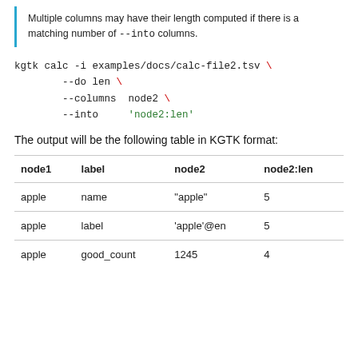Multiple columns may have their length computed if there is a matching number of --into columns.
kgtk calc -i examples/docs/calc-file2.tsv \
        --do len \
        --columns  node2 \
        --into     'node2:len'
The output will be the following table in KGTK format:
| node1 | label | node2 | node2:len |
| --- | --- | --- | --- |
| apple | name | "apple" | 5 |
| apple | label | 'apple'@en | 5 |
| apple | good_count | 1245 | 4 |